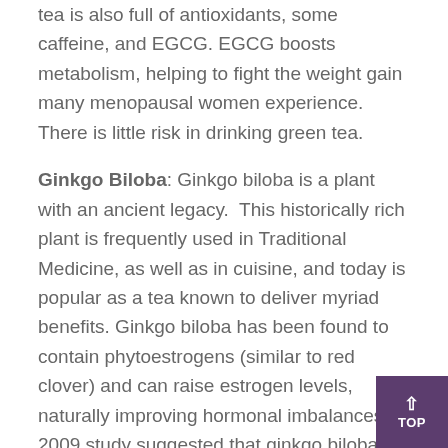tea is also full of antioxidants, some caffeine, and EGCG. EGCG boosts metabolism, helping to fight the weight gain many menopausal women experience. There is little risk in drinking green tea.
Ginkgo Biloba: Ginkgo biloba is a plant with an ancient legacy. This historically rich plant is frequently used in Traditional Medicine, as well as in cuisine, and today is popular as a tea known to deliver myriad benefits. Ginkgo biloba has been found to contain phytoestrogens (similar to red clover) and can raise estrogen levels, naturally improving hormonal imbalances. A 2009 study suggested that ginkgo biloba can improve PMS symptoms and the mood fluctuation that can occur before and during